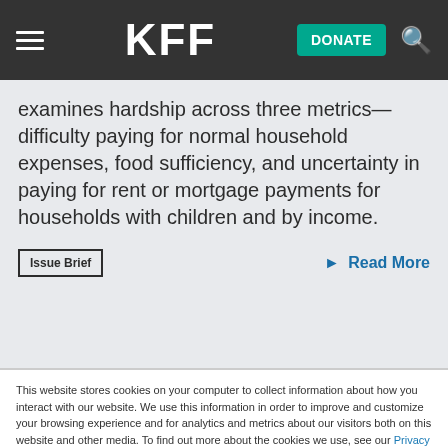KFF DONATE
examines hardship across three metrics—difficulty paying for normal household expenses, food sufficiency, and uncertainty in paying for rent or mortgage payments for households with children and by income.
Issue Brief   > Read More
This website stores cookies on your computer to collect information about how you interact with our website. We use this information in order to improve and customize your browsing experience and for analytics and metrics about our visitors both on this website and other media. To find out more about the cookies we use, see our Privacy Policy.
Accept